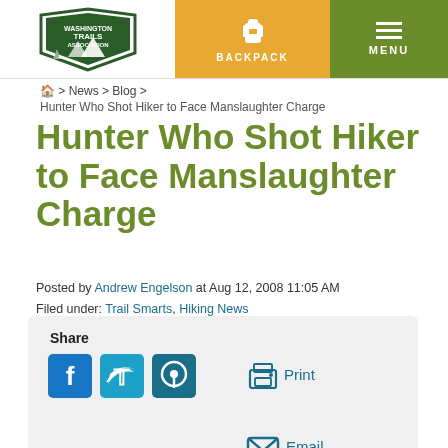Washington Trails Association | BACKPACK | MENU
Home > News > Blog > Hunter Who Shot Hiker to Face Manslaughter Charge
Hunter Who Shot Hiker to Face Manslaughter Charge
Posted by Andrew Engelson at Aug 12, 2008 11:05 AM
Filed under: Trail Smarts, Hiking News
[Figure (infographic): Share box with social media icons: Facebook, Twitter, Pinterest, Print and Email options on a light grey background]
According to today's Skagit Valley Herald and the Seattle Times, the 14-year old hunter who accidentally